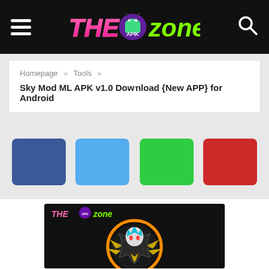THE APK ZONE
Homepage » Tools » Sky Mod ML APK v1.0 Download {New APP} for Android
Sky Mod ML APK v1.0 Download {New APP} for Android
[Figure (other): Social share buttons: dark blue (Facebook), light blue (Twitter), green, red]
[Figure (screenshot): THE APK ZONE logo watermark over a dark background image featuring a stylized anime character (Yu-Gi-Oh style) centered in an orange circular design]